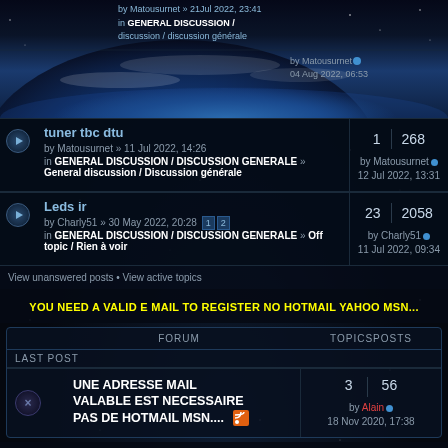[Figure (photo): Earth from space background image with blue planet and starfield]
by Matousurnet » 21Jul 2022, 23:41
in GENERAL DISCUSSION /
discussion / discussion générale
by Matousurnet
04 Aug 2022, 06:53
tuner tbc dtu
by Matousurnet » 11 Jul 2022, 14:26
in GENERAL DISCUSSION / DISCUSSION GENERALE » General discussion / Discussion générale
by Matousurnet
12 Jul 2022, 13:31
1 replies | 268 views
Leds ir
by Charly51 » 30 May 2022, 20:28 [1][2]
in GENERAL DISCUSSION / DISCUSSION GENERALE » Off topic / Rien à voir
by Charly51
11 Jul 2022, 09:34
23 replies | 2058 views
View unanswered posts • View active topics
YOU NEED A VALID E MAIL TO REGISTER NO HOTMAIL YAHOO MSN...
| FORUM | TOPICSPOSTS | LAST POST |
| --- | --- | --- |
| UNE ADRESSE MAIL VALABLE EST NECESSAIRE PAS DE HOTMAIL MSN.... | 3 | 56 | by Alain
18 Nov 2020, 17:38 |
RULES / REGLES A RESPECTER
| FORUM | TOPICSPOSTS | LAST POST |
| --- | --- | --- |